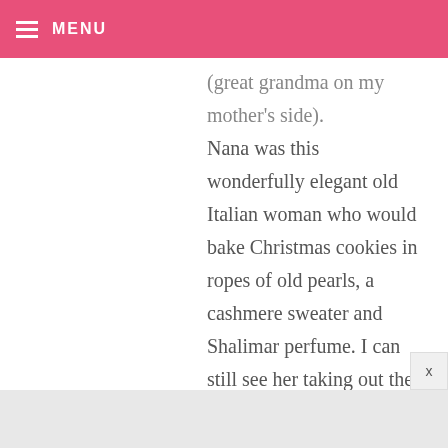MENU
(great grandma on my mother's side). Nana was this wonderfully elegant old Italian woman who would bake Christmas cookies in ropes of old pearls, a cashmere sweater and Shalimar perfume. I can still see her taking out the antique Pizzelle presses she got from her Mother back in Italy, making the dough, cooking the cookies and telling me stories about how she used to make them when she was a little girl. She would always let me dust